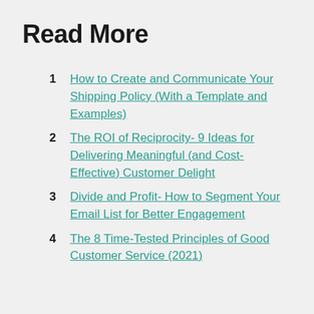Read More
1  How to Create and Communicate Your Shipping Policy (With a Template and Examples)
2  The ROI of Reciprocity- 9 Ideas for Delivering Meaningful (and Cost-Effective) Customer Delight
3  Divide and Profit- How to Segment Your Email List for Better Engagement
4  The 8 Time-Tested Principles of Good Customer Service (2021)